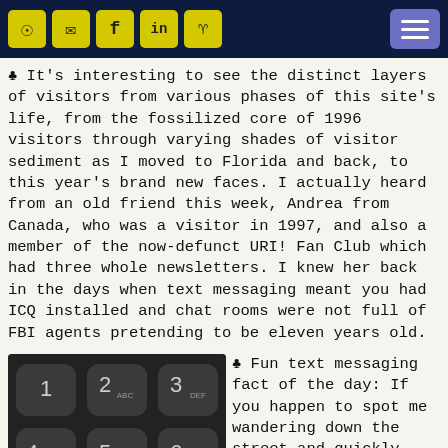Navigation bar with RSS, email, Facebook, LinkedIn, GitHub icons and hamburger menu
♣ It's interesting to see the distinct layers of visitors from various phases of this site's life, from the fossilized core of 1996 visitors through varying shades of visitor sediment as I moved to Florida and back, to this year's brand new faces. I actually heard from an old friend this week, Andrea from Canada, who was a visitor in 1997, and also a member of the now-defunct URI! Fan Club which had three whole newsletters. I knew her back in the days when text messaging meant you had ICQ installed and chat rooms were not full of FBI agents pretending to be eleven years old.
[Figure (photo): Close-up photo of a telephone keypad with black rounded keys showing numbers 1-9 with letter labels (ABC, DEF, GHI, JKL, MNO, PQRS, TUV, WXYZ)]
♣ Fun text messaging fact of the day: If you happen to spot me wandering down the street and quickly send a text message to a friend describing what a hottie that Brian character is, and you have one of those phones that tries
character is, and you have one of those phones that tries